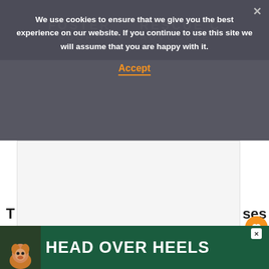[Figure (screenshot): Cookie consent banner overlay with dark background, bold white text reading 'We use cookies to ensure that we give you the best experience on our website. If you continue to use this site we will assume that you are happy with it.' with orange Accept link and close X button. Behind it is a pet rescue website header.]
[Figure (other): Light grey advertisement placeholder box]
All bookings accounted for, which means you won't have to book each attraction as you g[o]
Top tip: Visit New York City in Winter [to see the] best of NYC without the crowds.
[Figure (other): What's Next panel with thumbnail image linking to '4 Days In New York Itinerar...']
[Figure (other): Bottom advertisement banner with green background showing dog graphic and text 'HEAD OVER HEELS']
T[op tip section header partially visible] ...s[om]es